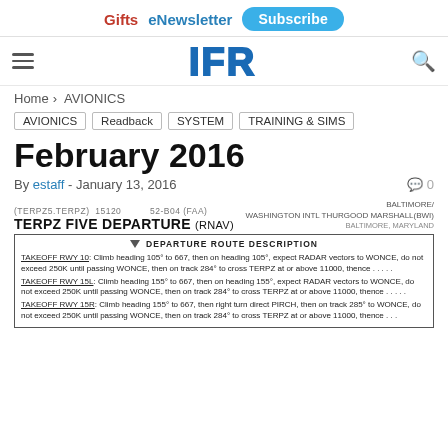Gifts  eNewsletter  Subscribe
[Figure (logo): IFR magazine logo in bold blue block letters with hamburger menu icon on left and search icon on right]
Home › AVIONICS
AVIONICS
Readback
SYSTEM
TRAINING & SIMS
February 2016
By estaff - January 13, 2016   💬 0
(TERPZ5.TERPZ) 15120    52-B04 (FAA)    BALTIMORE/ WASHINGTON INTL THURGOOD MARSHALL(BWI)    TERPZ FIVE DEPARTURE (RNAV)    BALTIMORE, MARYLAND
▼ DEPARTURE ROUTE DESCRIPTION
TAKEOFF RWY 10: Climb heading 105° to 667, then on heading 105°, expect RADAR vectors to WONCE, do not exceed 250K until passing WONCE, then on track 284° to cross TERPZ at or above 11000, thence . . . . .
TAKEOFF RWY 15L: Climb heading 155° to 667, then on heading 155°, expect RADAR vectors to WONCE, do not exceed 250K until passing WONCE, then on track 284° to cross TERPZ at or above 11000, thence . . . . .
TAKEOFF RWY 15R: Climb heading 155° to 667, then right turn direct PIRCH, then on track 285° to WONCE, do not exceed 250K until passing WONCE, then on track 284° to cross TERPZ at or above 11000, thence . . .